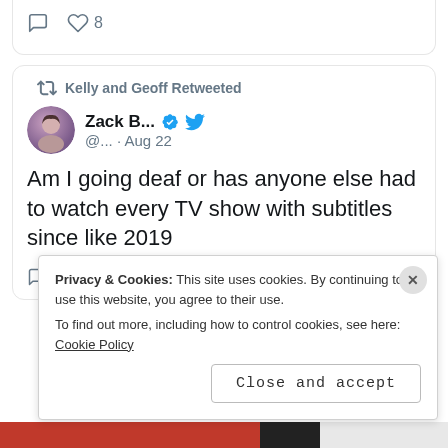[Figure (screenshot): Top portion of a tweet card showing comment icon and heart icon with 8 likes]
[Figure (screenshot): Tweet card: Kelly and Geoff Retweeted. Zack B... verified account @... Aug 22. Tweet text: Am I going deaf or has anyone else had to watch every TV show with subtitles since like 2019. 3K comments, 171K likes.]
Privacy & Cookies: This site uses cookies. By continuing to use this website, you agree to their use.
To find out more, including how to control cookies, see here: Cookie Policy
Close and accept